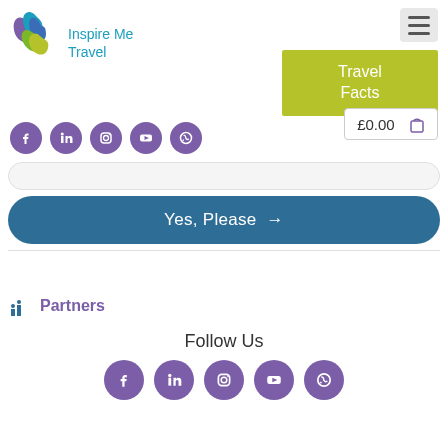[Figure (logo): Inspire Me Travel logo with colorful leaf/feather shapes in blue, teal, green, and purple]
Inspire Me Travel
[Figure (other): Hamburger menu button (three horizontal lines) on grey background]
[Figure (other): Travel Facts button in olive/yellow-green color]
[Figure (other): Social media icons row (Facebook, LinkedIn, Instagram, YouTube, WhatsApp) in purple circles]
£0.00 (cart icon)
[Figure (other): Yes, Please button in dark teal/blue with arrow]
Partners
Follow Us
[Figure (other): Footer social media icons (Facebook, LinkedIn, Instagram, YouTube, WhatsApp) in purple circles]